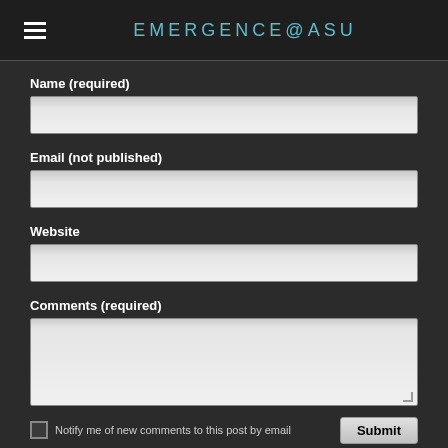EMERGENCE@ASU
Name (required)
Email (not published)
Website
Comments (required)
Notify me of new comments to this post by email
Submit